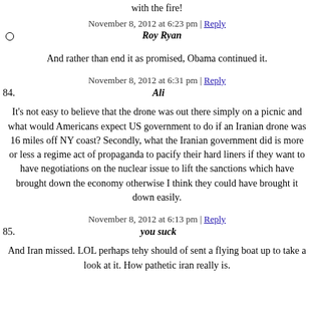with the fire!
November 8, 2012 at 6:23 pm | Reply
Roy Ryan
And rather than end it as promised, Obama continued it.
November 8, 2012 at 6:31 pm | Reply
84. Ali
It's not easy to believe that the drone was out there simply on a picnic and what would Americans expect US government to do if an Iranian drone was 16 miles off NY coast? Secondly, what the Iranian government did is more or less a regime act of propaganda to pacify their hard liners if they want to have negotiations on the nuclear issue to lift the sanctions which have brought down the economy otherwise I think they could have brought it down easily.
November 8, 2012 at 6:13 pm | Reply
85. you suck
And Iran missed. LOL perhaps tehy should of sent a flying boat up to take a look at it. How pathetic iran really is.